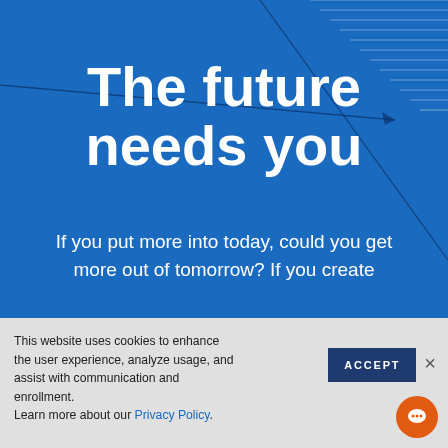[Figure (illustration): Blue banner with decorative diagonal lines and arrow graphic in top-right corner]
The future needs you
If you put more into today, could you get more out of tomorrow? If you create
This website uses cookies to enhance the user experience, analyze usage, and assist with communication and enrollment.
Learn more about our Privacy Policy.